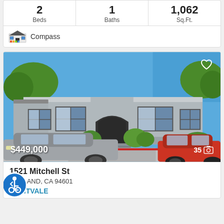| Beds | Baths | Sq.Ft. |
| --- | --- | --- |
| 2 | 1 | 1,062 |
Compass
[Figure (photo): Exterior photo of a single-story gray house with green shrubs, blue sky, and two cars parked in front. Price overlay: $449,000. Photo count: 35.]
1521 Mitchell St
OAKLAND, CA 94601
FRUITVALE